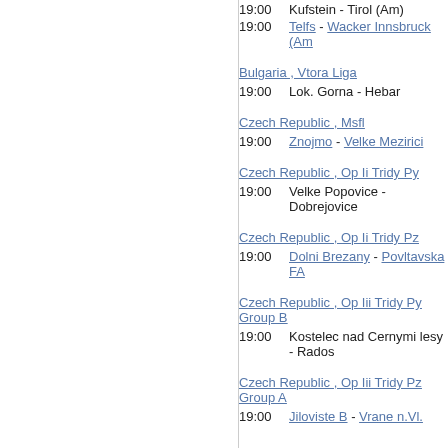19:00   Kufstein - Tirol (Am)
19:00   Telfs - Wacker Innsbruck (Am)
Bulgaria , Vtora Liga
19:00   Lok. Gorna - Hebar
Czech Republic , Msfl
19:00   Znojmo - Velke Mezirici
Czech Republic , Op Ii Tridy Py
19:00   Velke Popovice - Dobrejovice
Czech Republic , Op Ii Tridy Pz
19:00   Dolni Brezany - Povltavska FA
Czech Republic , Op Iii Tridy Py Group B
19:00   Kostelec nad Cernymi lesy - Rados
Czech Republic , Op Iii Tridy Pz Group A
19:00   Jiloviste B - Vrane n.Vl.